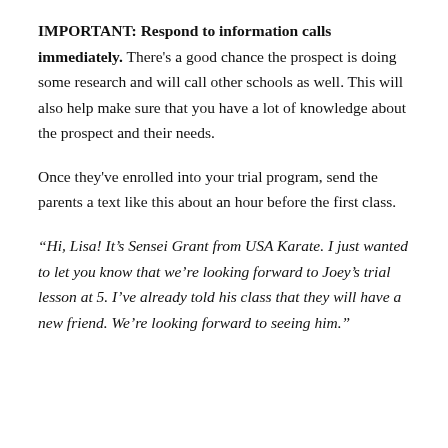IMPORTANT: Respond to information calls immediately. There's a good chance the prospect is doing some research and will call other schools as well. This will also help make sure that you have a lot of knowledge about the prospect and their needs.
Once they've enrolled into your trial program, send the parents a text like this about an hour before the first class.
“Hi, Lisa! It’s Sensei Grant from USA Karate. I just wanted to let you know that we’re looking forward to Joey’s trial lesson at 5. I’ve already told his class that they will have a new friend. We’re looking forward to seeing him.”